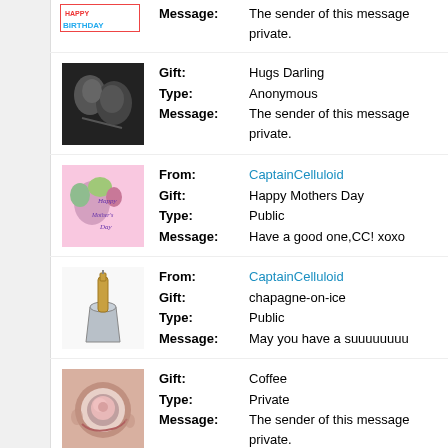Message: The sender of this message chose to keep it private.
[Figure (photo): Happy Birthday card with colorful balloon letters]
Gift: Hugs Darling
Type: Anonymous
Message: The sender of this message chose to keep it private.
[Figure (photo): Black and white romantic couple photo]
From: CaptainCelluloid
Gift: Happy Mothers Day
Type: Public
Message: Have a good one,CC! xoxo
[Figure (photo): Happy Mothers Day card with flowers on pink background]
From: CaptainCelluloid
Gift: chapagne-on-ice
Type: Public
Message: May you have a suuuuuuuu
[Figure (photo): Champagne bottle in silver ice bucket]
Gift: Coffee
Type: Private
Message: The sender of this message chose to keep it private.
[Figure (photo): Coffee cup with floral decoration held in hands]